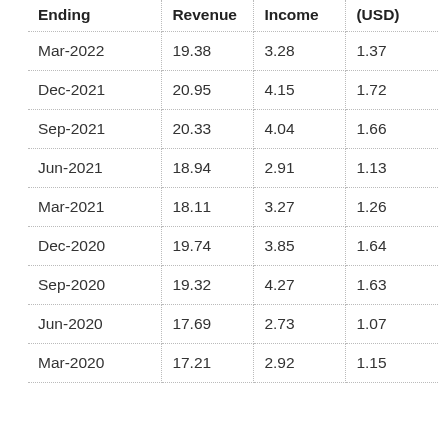| Ending | Revenue | Income | (USD) |
| --- | --- | --- | --- |
| Mar-2022 | 19.38 | 3.28 | 1.37 |
| Dec-2021 | 20.95 | 4.15 | 1.72 |
| Sep-2021 | 20.33 | 4.04 | 1.66 |
| Jun-2021 | 18.94 | 2.91 | 1.13 |
| Mar-2021 | 18.11 | 3.27 | 1.26 |
| Dec-2020 | 19.74 | 3.85 | 1.64 |
| Sep-2020 | 19.32 | 4.27 | 1.63 |
| Jun-2020 | 17.69 | 2.73 | 1.07 |
| Mar-2020 | 17.21 | 2.92 | 1.15 |